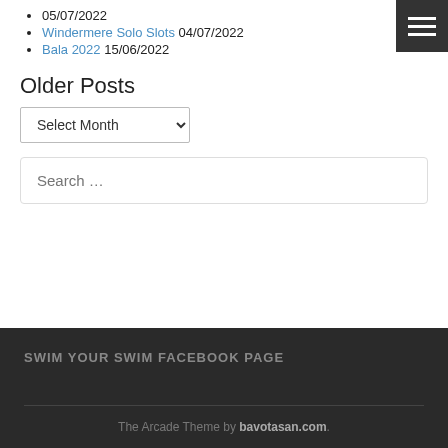05/07/2022
Windermere Solo Slots 04/07/2022
Bala 2022 15/06/2022
Older Posts
Select Month
Search ...
SWIM YOUR SWIM FACEBOOK PAGE
The Arcade Theme by bavotasan.com.